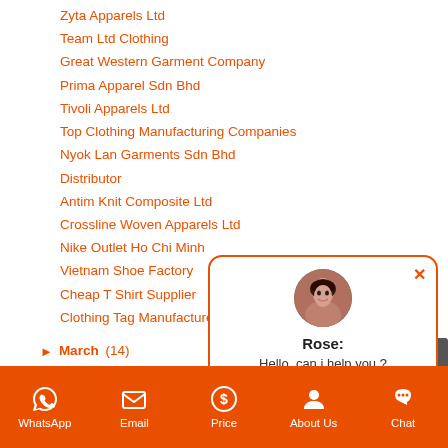Zyta Apparels Ltd
Team Ltd Clothing
Great Western Garment Company
Prima Apparel Sdn Bhd
Tivoli Apparels Ltd
Top Clothing Manufacturing Companies
Nyok Lan Garments Sdn Bhd
Distributor
Antim Knit Composite Ltd
Crossline Woven Apparels Ltd
Nike Outlet Ho Chi Minh
Vietnam Shoe Factory
Cheap T Shirt Supplier
Clothing Tag Manufacturer
March (14)
February (668)
January (758)
2019 (22)
[Figure (screenshot): Chat popup with avatar of a woman named Rose, message: Hello, can i help you ?]
WhatsApp  Email  Price  About Us  Chat